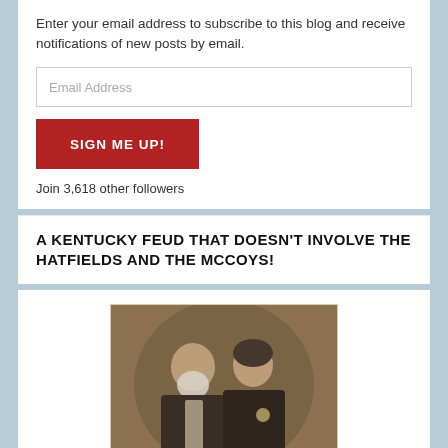Enter your email address to subscribe to this blog and receive notifications of new posts by email.
Email Address
SIGN ME UP!
Join 3,618 other followers
A KENTUCKY FEUD THAT DOESN'T INVOLVE THE HATFIELDS AND THE MCCOYS!
[Figure (photo): Old sepia-toned portrait photograph of an elderly man with a white beard and a woman, both in dark Victorian-era clothing.]
Isaiah and Lydia Ross Hill